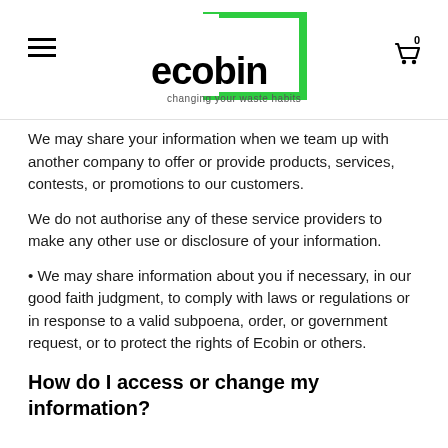ecobin — changing your waste habits
We may share your information when we team up with another company to offer or provide products, services, contests, or promotions to our customers.
We do not authorise any of these service providers to make any other use or disclosure of your information.
• We may share information about you if necessary, in our good faith judgment, to comply with laws or regulations or in response to a valid subpoena, order, or government request, or to protect the rights of Ecobin or others.
How do I access or change my information?